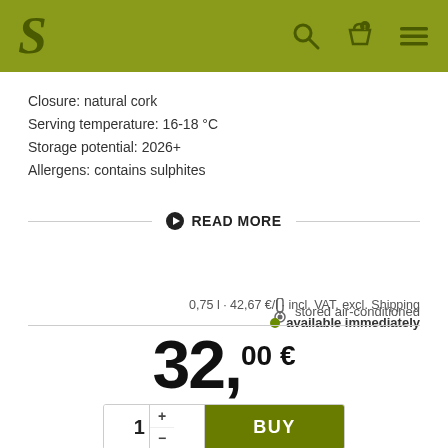S [logo] [search icon] [basket icon] [menu icon]
Closure: natural cork
Serving temperature: 16-18 °C
Storage potential: 2026+
Allergens: contains sulphites
READ MORE
stored air-conditioned
0,75 l · 42,67 €/l · incl. VAT, excl. Shipping
● available immediately
32,00 €
1 + - BUY